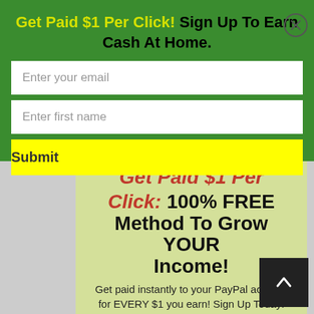Get Paid $1 Per Click! Sign Up To Earn Cash At Home.
Enter your email
Enter first name
Submit
Get Paid $1 Per Click: 100% FREE Method To Grow YOUR Income!
Get paid instantly to your PayPal account for EVERY $1 you earn! Sign Up Today!
Enter your email